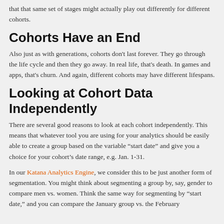that that same set of stages might actually play out differently for different cohorts.
Cohorts Have an End
Also just as with generations, cohorts don't last forever. They go through the life cycle and then they go away. In real life, that's death. In games and apps, that's churn. And again, different cohorts may have different lifespans.
Looking at Cohort Data Independently
There are several good reasons to look at each cohort independently. This means that whatever tool you are using for your analytics should be easily able to create a group based on the variable “start date” and give you a choice for your cohort’s date range, e.g. Jan. 1-31.
In our Katana Analytics Engine, we consider this to be just another form of segmentation. You might think about segmenting a group by, say, gender to compare men vs. women. Think the same way for segmenting by “start date,” and you can compare the January group vs. the February